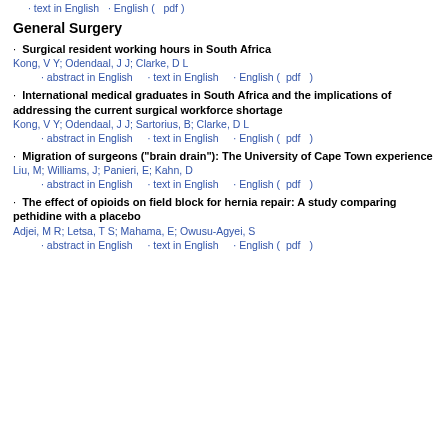· text in English · English ( pdf )
General Surgery
· Surgical resident working hours in South Africa
Kong, V Y; Odendaal, J J; Clarke, D L
· abstract in English · text in English · English ( pdf )
· International medical graduates in South Africa and the implications of addressing the current surgical workforce shortage
Kong, V Y; Odendaal, J J; Sartorius, B; Clarke, D L
· abstract in English · text in English · English ( pdf )
· Migration of surgeons ("brain drain"): The University of Cape Town experience
Liu, M; Williams, J; Panieri, E; Kahn, D
· abstract in English · text in English · English ( pdf )
· The effect of opioids on field block for hernia repair: A study comparing pethidine with a placebo
Adjei, M R; Letsa, T S; Mahama, E; Owusu-Agyei, S
· abstract in English · text in English · English ( pdf )